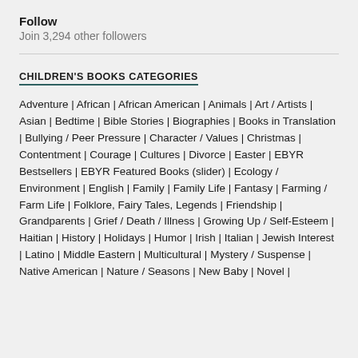Follow
Join 3,294 other followers
CHILDREN'S BOOKS CATEGORIES
Adventure | African | African American | Animals | Art / Artists | Asian | Bedtime | Bible Stories | Biographies | Books in Translation | Bullying / Peer Pressure | Character / Values | Christmas | Contentment | Courage | Cultures | Divorce | Easter | EBYR Bestsellers | EBYR Featured Books (slider) | Ecology / Environment | English | Family | Family Life | Fantasy | Farming / Farm Life | Folklore, Fairy Tales, Legends | Friendship | Grandparents | Grief / Death / Illness | Growing Up / Self-Esteem | Haitian | History | Holidays | Humor | Irish | Italian | Jewish Interest | Latino | Middle Eastern | Multicultural | Mystery / Suspense | Native American | Nature / Seasons | New Baby | Novel |